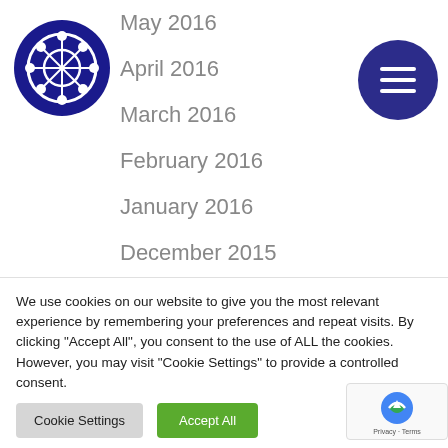[Figure (logo): Blue circular logo with film reel / globe design]
[Figure (other): Dark blue circular menu/hamburger button with three horizontal white lines]
May 2016
April 2016
March 2016
February 2016
January 2016
December 2015
November 2015
October 2015
September 2015
We use cookies on our website to give you the most relevant experience by remembering your preferences and repeat visits. By clicking "Accept All", you consent to the use of ALL the cookies. However, you may visit "Cookie Settings" to provide a controlled consent.
Cookie Settings
Accept All